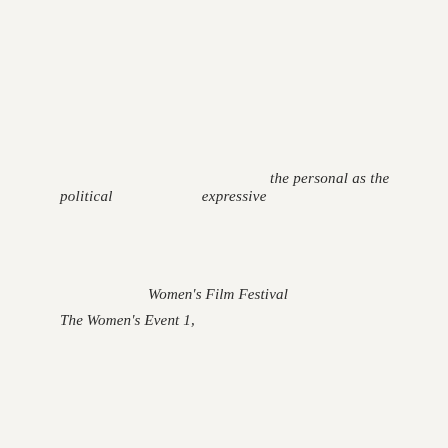the personal as the
political                    expressive
Women's Film Festival
The Women's Event 1,